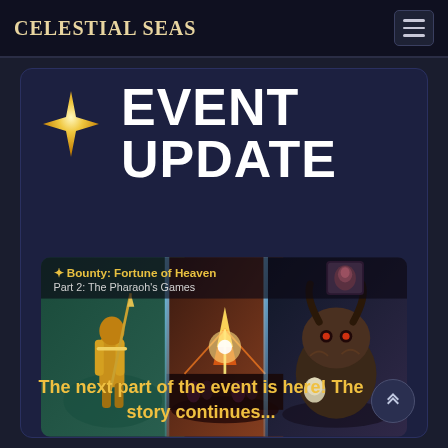CELESTIAL SEAS
EVENT UPDATE
[Figure (screenshot): Event banner image for 'Bounty: Fortune of Heaven, Part 2: The Pharaoh's Games' showing three panels with fantasy game characters and scenes including a warrior with spear, a magical arena, and a beast creature]
The next part of the event is here! The story continues...